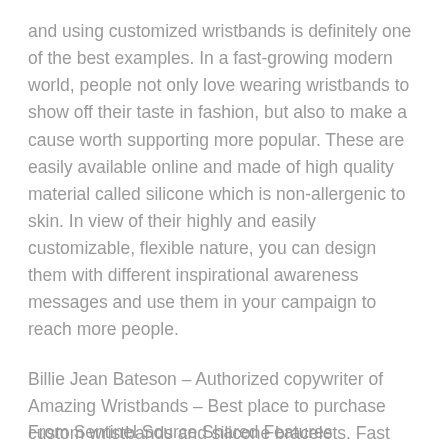and using customized wristbands is definitely one of the best examples. In a fast-growing modern world, people not only love wearing wristbands to show off their taste in fashion, but also to make a cause worth supporting more popular. These are easily available online and made of high quality material called silicone which is non-allergenic to skin. In view of their highly and easily customizable, flexible nature, you can design them with different inspirational awareness messages and use them in your campaign to reach more people.
Billie Jean Bateson – Authorized copywriter of Amazing Wristbands – Best place to purchase custom wristbands and silicone bracelets. Fast production, great prices and a variety of styles and designs are Amazing Wristbands specialty! For more details call us at 1-800-269-0910.
From Sentinel Source Shared Features